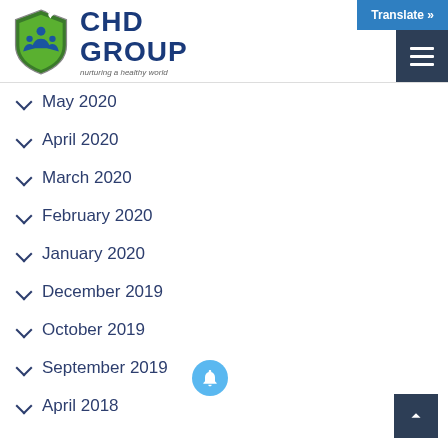[Figure (logo): CHD Group logo with shield, green leaves, blue figures, and a dove. Tagline: nurturing a healthy world]
May 2020
April 2020
March 2020
February 2020
January 2020
December 2019
October 2019
September 2019
April 2018